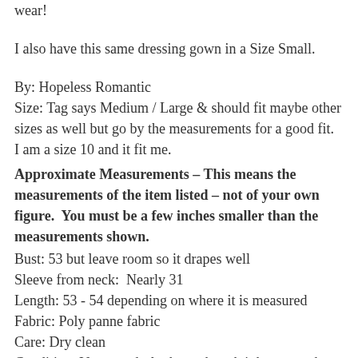wear!
I also have this same dressing gown in a Size Small.
By: Hopeless Romantic
Size: Tag says Medium / Large & should fit maybe other sizes as well but go by the measurements for a good fit.  I am a size 10 and it fit me.
Approximate Measurements – This means the measurements of the item listed – not of your own figure.  You must be a few inches smaller than the measurements shown.
Bust: 53 but leave room so it drapes well
Sleeve from neck:  Nearly 31
Length: 53 - 54 depending on where it is measured
Fabric: Poly panne fabric
Care: Dry clean
Condition: Very good - looks as though it has never been worn and if it were, it was seldom - One small spot on the INSIDE hem line which looks like it was there from when they manufactured the dressing gown and cannot be